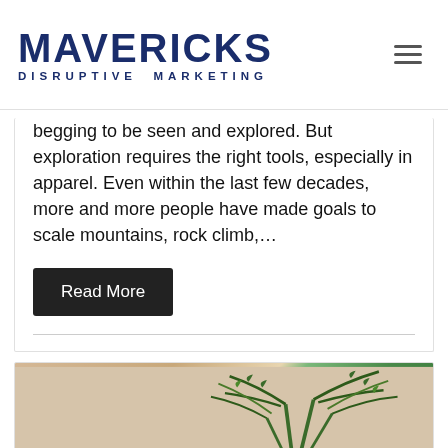MAVERICKS DISRUPTIVE MARKETING
begging to be seen and explored. But exploration requires the right tools, especially in apparel. Even within the last few decades, more and more people have made goals to scale mountains, rock climb,...
Read More
[Figure (photo): Photo showing a hand holding something with a large green tropical plant in background against a neutral wall]